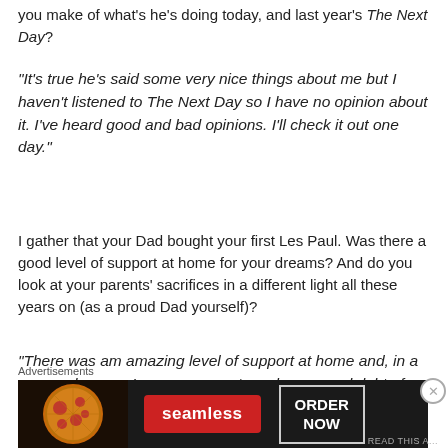you make of what's he's doing today, and last year's The Next Day?
“It’s true he’s said some very nice things about me but I haven’t listened to The Next Day so I have no opinion about it. I’ve heard good and bad opinions. I’ll check it out one day.”
I gather that your Dad bought your first Les Paul. Was there a good level of support at home for your dreams? And do you look at your parents’ sacrifices in a different light all these years on (as a proud Dad yourself)?
“There was am amazing level of support at home and, in a very real sense, I owe my parents a phenomenal debt of
Advertisements
[Figure (other): Seamless food delivery advertisement showing pizza image on left, red Seamless logo button in center, and ORDER NOW button on right with dark background]